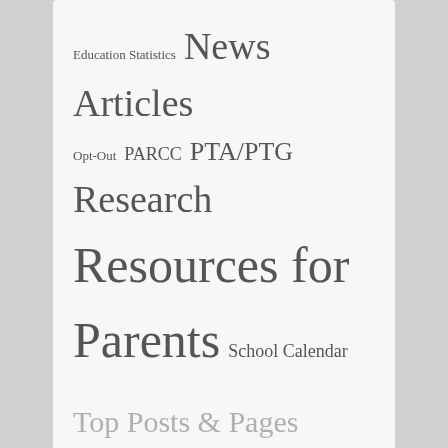Education Statistics News Articles Opt-Out PARCC PTA/PTG Research Resources for Parents School Calendar School Ratings School Reform Smarter Balanced (SBAC) Social Studies Standardized Tests Statistics Teacher Education Teaching Tests Vouchers
Top Posts & Pages